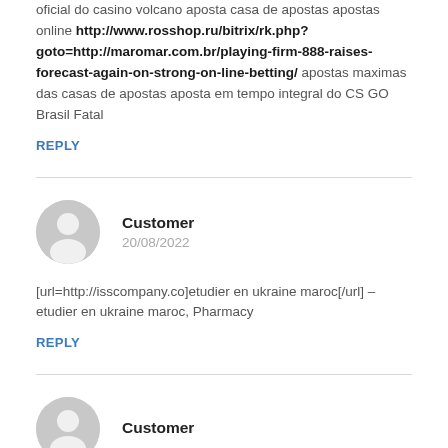oficial do casino volcano aposta casa de apostas apostas online http://www.rosshop.ru/bitrix/rk.php?goto=http://maromar.com.br/playing-firm-888-raises-forecast-again-on-strong-on-line-betting/ apostas maximas das casas de apostas aposta em tempo integral do CS GO Brasil Fatal
REPLY
Customer
20/08/2022
[url=http://isscompany.co]etudier en ukraine maroc[/url] – etudier en ukraine maroc, Pharmacy
REPLY
Customer